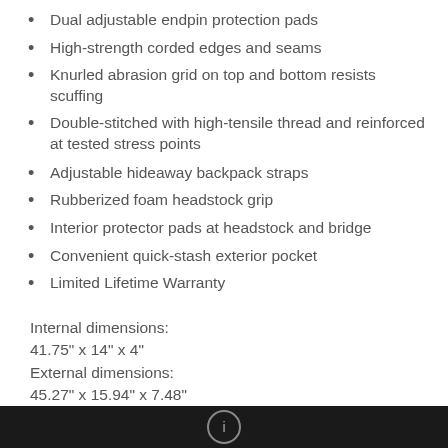Dual adjustable endpin protection pads
High-strength corded edges and seams
Knurled abrasion grid on top and bottom resists scuffing
Double-stitched with high-tensile thread and reinforced at tested stress points
Adjustable hideaway backpack straps
Rubberized foam headstock grip
Interior protector pads at headstock and bridge
Convenient quick-stash exterior pocket
Limited Lifetime Warranty
Internal dimensions:
41.75" x 14" x 4"
External dimensions:
45.27" x 15.94" x 7.48"
[Figure (other): Black bar at bottom with a circular logo/icon partially visible]